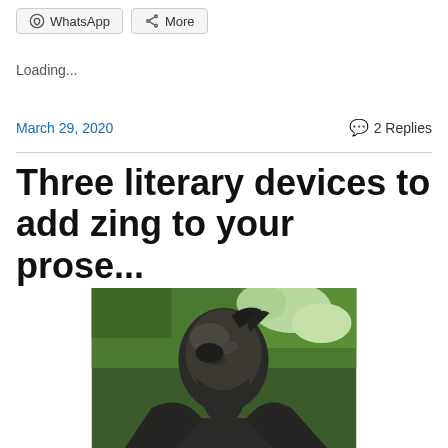WhatsApp  More
Loading...
March 29, 2020    2 Replies
Three literary devices to add zing to your prose...
[Figure (photo): Close-up photograph of a dark bronze statue of a thinker or literary figure, looking upward, with green trees visible in the background.]